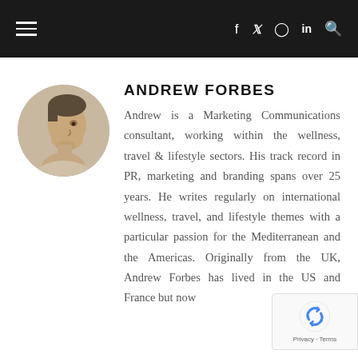Navigation header with hamburger menu and social icons (Facebook, Twitter, Instagram, LinkedIn, Search)
ANDREW FORBES
[Figure (photo): Circular profile photo of Andrew Forbes, a man in a side-profile pose against a light background]
Andrew is a Marketing Communications consultant, working within the wellness, travel & lifestyle sectors. His track record in PR, marketing and branding spans over 25 years. He writes regularly on international wellness, travel, and lifestyle themes with a particular passion for the Mediterranean and the Americas. Originally from the UK, Andrew Forbes has lived in the US and France but now